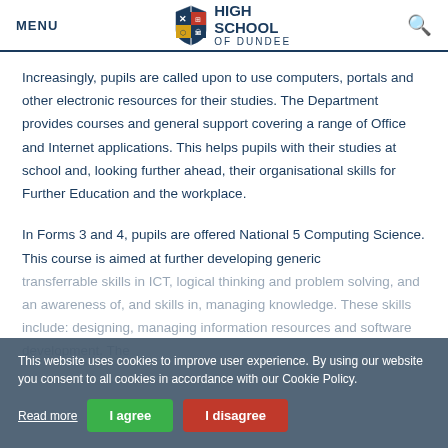MENU | HIGH SCHOOL OF DUNDEE | Search
Increasingly, pupils are called upon to use computers, portals and other electronic resources for their studies. The Department provides courses and general support covering a range of Office and Internet applications. This helps pupils with their studies at school and, looking further ahead, their organisational skills for Further Education and the workplace.
In Forms 3 and 4, pupils are offered National 5 Computing Science. This course is aimed at further developing generic transferrable skills in ICT, logical thinking and problem solving, and an awareness of, and skills in, managing knowledge. These skills include: designing, managing information resources and software development. The
This website uses cookies to improve user experience. By using our website you consent to all cookies in accordance with our Cookie Policy.